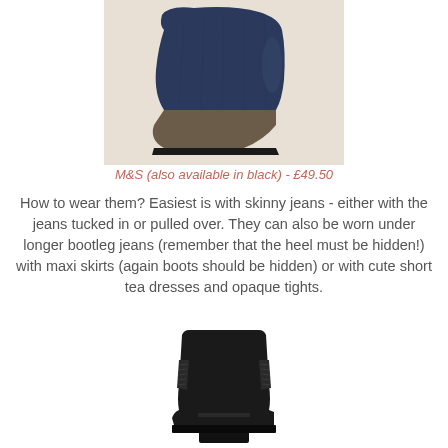[Figure (photo): Navy blue suede wedge ankle boot on a cream/beige background]
M&S (also available in black) - £49.50
How to wear them? Easiest is with skinny jeans - either with the jeans tucked in or pulled over. They can also be worn under longer bootleg jeans (remember that the heel must be hidden!) with maxi skirts (again boots should be hidden) or with cute short tea dresses and opaque tights.
[Figure (photo): Black ankle boot with block heel and elastic side panel]